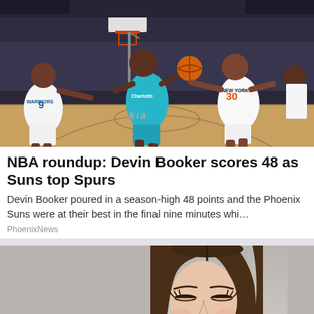[Figure (photo): NBA basketball game photo showing Charlotte Hornets player in teal jersey driving to basket between two New York Knicks players in white jerseys. Kia advertisement visible on court.]
NBA roundup: Devin Booker scores 48 as Suns top Spurs
Devin Booker poured in a season-high 48 points and the Phoenix Suns were at their best in the final nine minutes whi…
PhoenixNews
[Figure (photo): Woman with long straight brown hair against a light gray background, looking down with eyes partially closed, wearing makeup.]